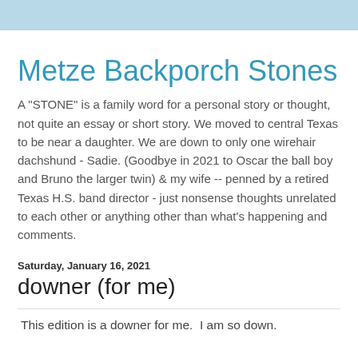Metze Backporch Stones
A "STONE" is a family word for a personal story or thought, not quite an essay or short story. We moved to central Texas to be near a daughter. We are down to only one wirehair dachshund - Sadie. (Goodbye in 2021 to Oscar the ball boy and Bruno the larger twin) & my wife -- penned by a retired Texas H.S. band director - just nonsense thoughts unrelated to each other or anything other than what's happening and comments.
Saturday, January 16, 2021
downer (for me)
This edition is a downer for me.  I am so down.